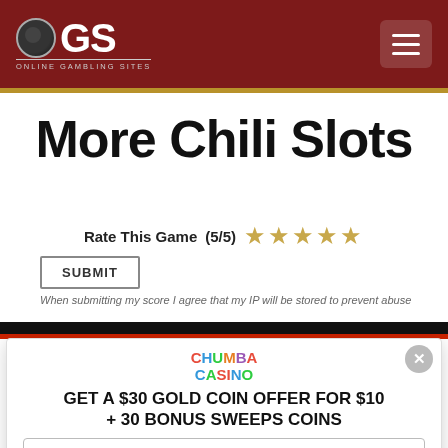OGS Online Gambling Sites
More Chili Slots
Rate This Game (5/5) ★★★★★
SUBMIT
When submitting my score I agree that my IP will be stored to prevent abuse
[Figure (screenshot): Chumba Casino promotional popup offering $30 Gold Coin offer for $10 plus 30 Bonus Sweeps Coins, with email input and Claim Offer button]
CHUMBA CASINO
GET A $30 GOLD COIN OFFER FOR $10 + 30 BONUS SWEEPS COINS
Enter your email to claim this offer...
CLAIM OFFER